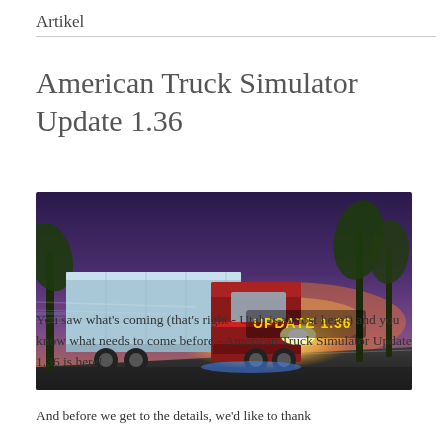Artikel
American Truck Simulator Update 1.36
[Figure (photo): American Truck Simulator Update 1.36 promotional banner image showing a red semi-truck with trailer speeding along a highway at dusk, with palm trees and glowing light effects. Text overlay reads 'UPDATE 1.36'.]
You saw what's coming (that's right - Utah is almost here!) and you know what needs to come before - American Truck Simulator Update 1.36 is here!
And before we get to the details, we'd like to thank